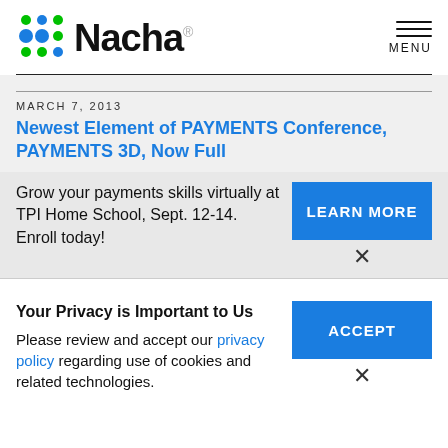[Figure (logo): Nacha logo with colorful dot grid pattern and Nacha wordmark]
MENU
MARCH 7, 2013
Newest Element of PAYMENTS Conference, PAYMENTS 3D, Now Full
Grow your payments skills virtually at TPI Home School, Sept. 12-14. Enroll today!
LEARN MORE
Your Privacy is Important to Us
Please review and accept our privacy policy regarding use of cookies and related technologies.
ACCEPT